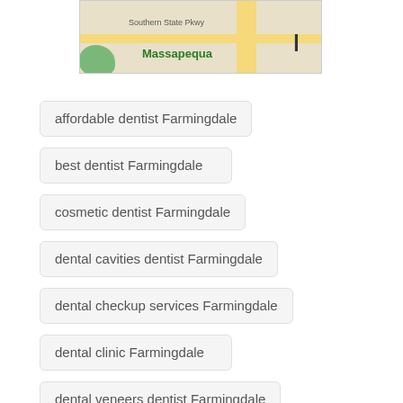[Figure (map): A Google Maps screenshot showing Southern State Pkwy and Massapequa area with roads and green areas]
affordable dentist Farmingdale
best dentist Farmingdale
cosmetic dentist Farmingdale
dental cavities dentist Farmingdale
dental checkup services Farmingdale
dental clinic Farmingdale
dental veneers dentist Farmingdale
emergency dentist Farmingdale
family dentist Farmingdale
Farmingdale affordable dentist
Farmingdale best dentist